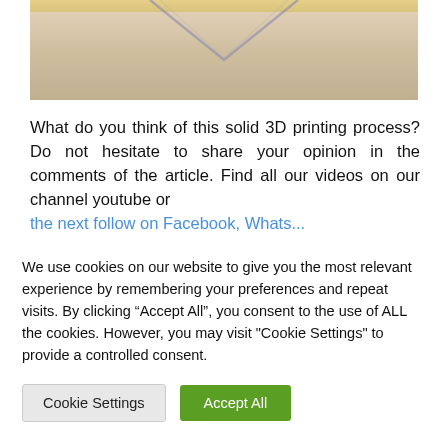[Figure (photo): Close-up photo of a 3D printed object showing a V-shaped crease/seam on a beige/tan surface]
What do you think of this solid 3D printing process? Do not hesitate to share your opinion in the comments of the article. Find all our videos on our channel youtube or the next follow on Facebook, Whats...
We use cookies on our website to give you the most relevant experience by remembering your preferences and repeat visits. By clicking “Accept All”, you consent to the use of ALL the cookies. However, you may visit "Cookie Settings" to provide a controlled consent.